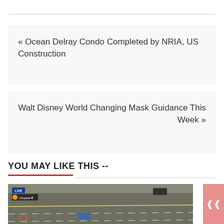« Ocean Delray Condo Completed by NRIA, US Construction
Walt Disney World Changing Mask Guidance This Week »
YOU MAY LIKE THIS --
[Figure (photo): Aerial live news footage from Chopper 4 showing a highway with vehicles and traffic cones, with a LIVE badge and Chopper 4 logo overlay in the top-left corner]